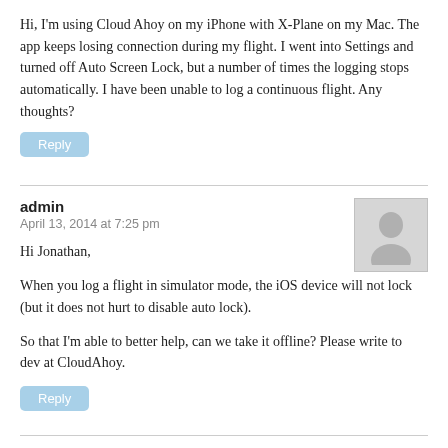Hi, I'm using Cloud Ahoy on my iPhone with X-Plane on my Mac. The app keeps losing connection during my flight. I went into Settings and turned off Auto Screen Lock, but a number of times the logging stops automatically. I have been unable to log a continuous flight. Any thoughts?
Reply
admin
April 13, 2014 at 7:25 pm
[Figure (illustration): Gray avatar placeholder icon showing a generic person silhouette]
Hi Jonathan,
When you log a flight in simulator mode, the iOS device will not lock (but it does not hurt to disable auto lock).
So that I'm able to better help, can we take it offline? Please write to dev at CloudAhoy.
Reply